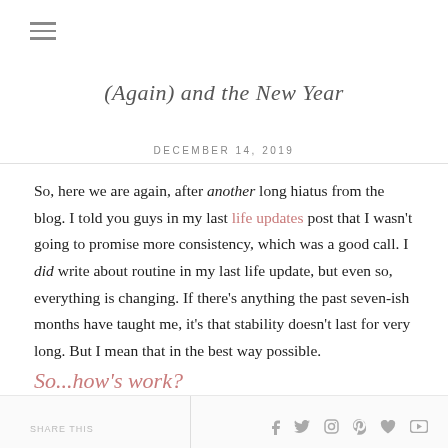(Again) and the New Year
DECEMBER 14, 2019
So, here we are again, after another long hiatus from the blog. I told you guys in my last life updates post that I wasn't going to promise more consistency, which was a good call. I did write about routine in my last life update, but even so, everything is changing. If there's anything the past seven-ish months have taught me, it's that stability doesn't last for very long. But I mean that in the best way possible.
So...how's work?
Social icons: f, twitter, instagram, pinterest, heart, youtube